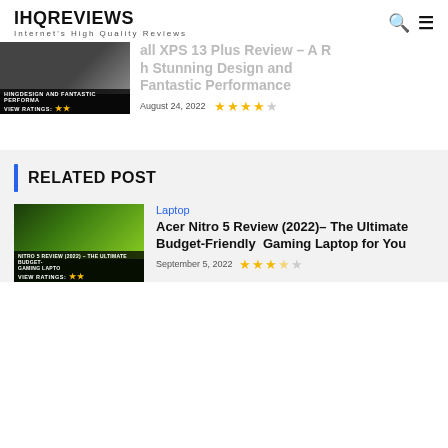IHQREVIEWS — Internet's High Quality Reviews
Dell XPS 13 Plus Review – A Laptop with Stunning Design and Fantastic Performance
August 24, 2022  ★★★★☆
RELATED POST
Laptop
Acer Nitro 5 Review (2022)– The Ultimate Budget-Friendly Gaming Laptop for You
September 5, 2022  ★★★½☆